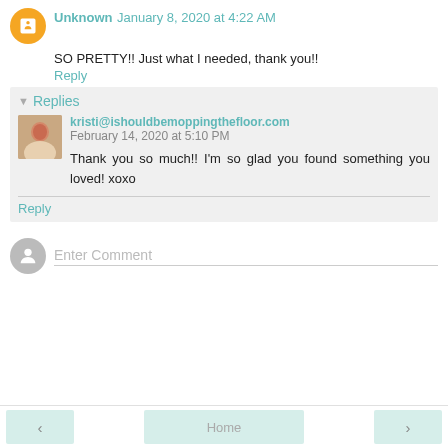Unknown January 8, 2020 at 4:22 AM
SO PRETTY!! Just what I needed, thank you!!
Reply
Replies
kristi@ishouldbemoppingthefloor.com February 14, 2020 at 5:10 PM
Thank you so much!! I'm so glad you found something you loved! xoxo
Reply
Enter Comment
Home